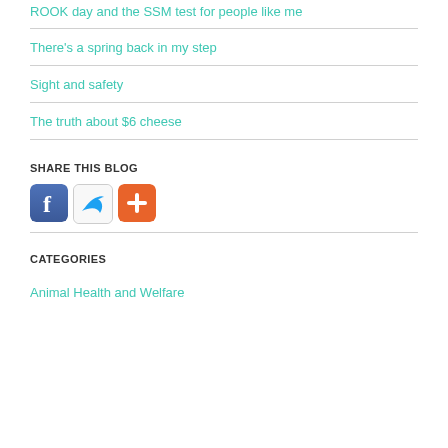ROOK day and the SSM test for people like me
There's a spring back in my step
Sight and safety
The truth about $6 cheese
SHARE THIS BLOG
[Figure (illustration): Social sharing icons: Facebook, Twitter, and an orange plus/share button]
CATEGORIES
Animal Health and Welfare